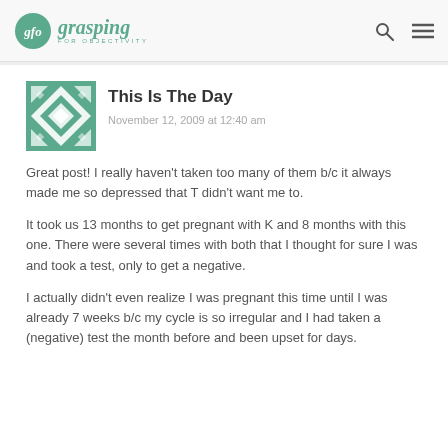glo grasping FOR OBJECTIVITY
[Figure (illustration): Teal and white geometric quilt-pattern avatar image]
This Is The Day
November 12, 2009 at 12:40 am
Great post! I really haven't taken too many of them b/c it always made me so depressed that T didn't want me to.
It took us 13 months to get pregnant with K and 8 months with this one. There were several times with both that I thought for sure I was and took a test, only to get a negative.
I actually didn't even realize I was pregnant this time until I was already 7 weeks b/c my cycle is so irregular and I had taken a (negative) test the month before and been upset for days.